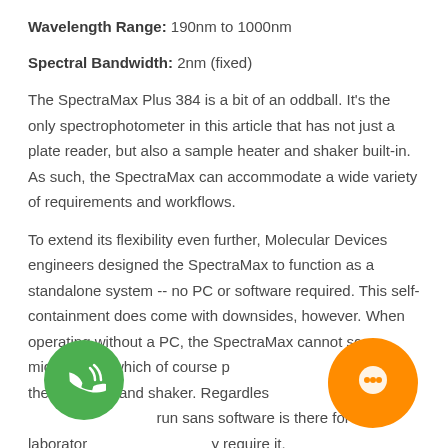Wavelength Range: 190nm to 1000nm
Spectral Bandwidth: 2nm (fixed)
The SpectraMax Plus 384 is a bit of an oddball. It's the only spectrophotometer in this article that has not just a plate reader, but also a sample heater and shaker built-in. As such, the SpectraMax can accommodate a wide variety of requirements and workflows.
To extend its flexibility even further, Molecular Devices engineers designed the SpectraMax to function as a standalone system -- no PC or software required. This self-containment does come with downsides, however. When operating without a PC, the SpectraMax cannot scan microplates, which of course prevents usage of the incubator and shaker. Regardless, the ability to run sans software is there for any laboratory that may require it.
[Figure (illustration): Green circular phone/call button with phone icon and signal waves]
[Figure (illustration): Orange circular chat/messaging button with chat bubble icon]